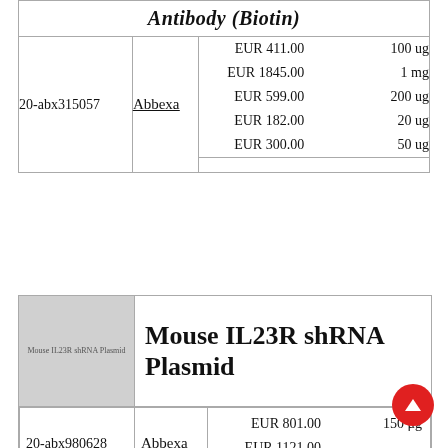| (partial — top visible) | Supplier | Price | Size |
| --- | --- | --- | --- |
| 20-abx315057 | Abbexa | EUR 411.00 | 100 ug |
| 20-abx315057 | Abbexa | EUR 1845.00 | 1 mg |
| 20-abx315057 | Abbexa | EUR 599.00 | 200 ug |
| 20-abx315057 | Abbexa | EUR 182.00 | 20 ug |
| 20-abx315057 | Abbexa | EUR 300.00 | 50 ug |
Mouse IL23R shRNA Plasmid
[Figure (illustration): Gray placeholder image labeled 'Mouse IL23R shRNA Plasmid']
| ID | Supplier | Price | Size |
| --- | --- | --- | --- |
| 20-abx980628 | Abbexa | EUR 801.00 | 150 μg |
| 20-abx980628 | Abbexa | EUR 1121.00 | …μg |